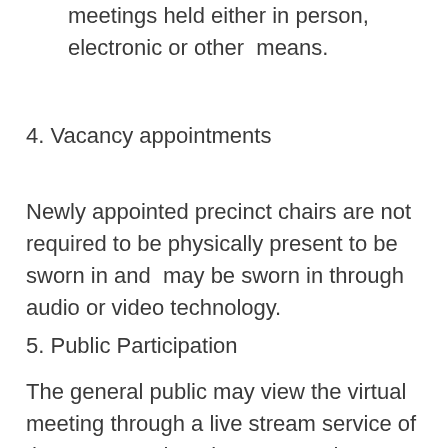meetings held either in person, electronic or other means.
4. Vacancy appointments
Newly appointed precinct chairs are not required to be physically present to be sworn in and may be sworn in through audio or video technology.
5. Public Participation
The general public may view the virtual meeting through a live stream service of the HCDP's choosing except where TDP Rules permit the closing of portions of the